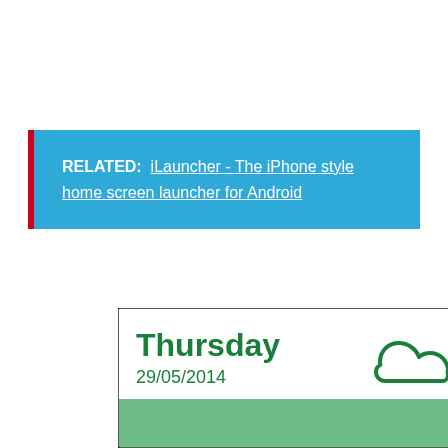RELATED:  iLauncher - The iPhone style home screen launcher for Android
[Figure (screenshot): Android widget screenshot showing Thursday 29/05/2014 with a cloud icon and temperature 31°, and a green search bar below]